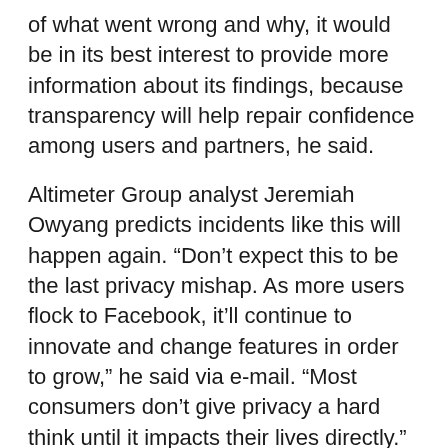of what went wrong and why, it would be in its best interest to provide more information about its findings, because transparency will help repair confidence among users and partners, he said.
Altimeter Group analyst Jeremiah Owyang predicts incidents like this will happen again. “Don’t expect this to be the last privacy mishap. As more users flock to Facebook, it’ll continue to innovate and change features in order to grow,” he said via e-mail. “Most consumers don’t give privacy a hard think until it impacts their lives directly.”
Updated at 2:35 p.m. PT to include comments from Facebook and more background on privacy issues facing the company. Updated at 11:21 p.m. PT to add comments from Consumer Watchdog and the EFF.